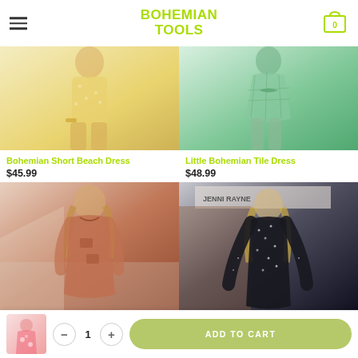BOHEMIAN TOOLS
[Figure (photo): Woman wearing a yellow short bohemian beach dress]
Bohemian Short Beach Dress
$45.99
[Figure (photo): Woman wearing a green little bohemian tile dress with bow]
Little Bohemian Tile Dress
$48.99
[Figure (photo): Woman in rust/orange oversized shirt dress]
[Figure (photo): Woman in black sequin long-sleeve dress, Jenni Rayne store]
ADD TO CART — 1